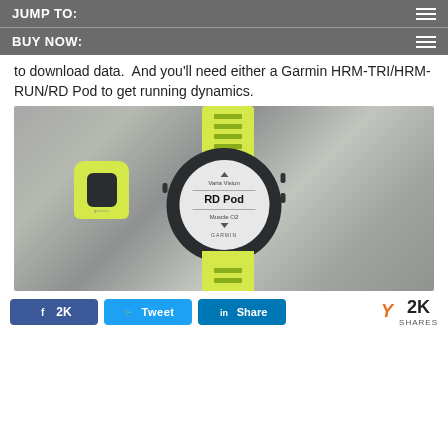JUMP TO:
BUY NOW:
to download data.  And you'll need either a Garmin HRM-TRI/HRM-RUN/RD Pod to get running dynamics.
[Figure (photo): Photo of a Garmin running watch with yellow/lime strap showing 'Varia Vision', 'RD Pod', and 'Muscle O2' on screen, alongside a yellow RD Pod sensor, placed on a gray concrete surface.]
2K  (Facebook share)  (Twitter share)  (LinkedIn share)  Y  2K  SHARES